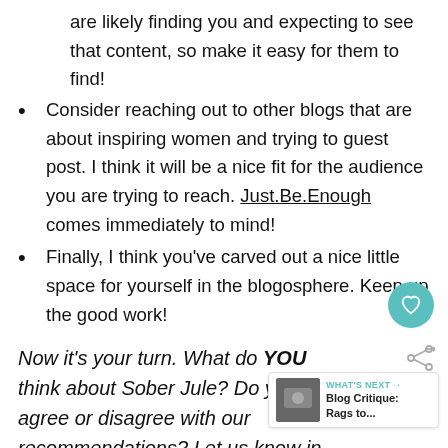are likely finding you and expecting to see that content, so make it easy for them to find!
Consider reaching out to other blogs that are about inspiring women and trying to guest post. I think it will be a nice fit for the audience you are trying to reach. Just.Be.Enough comes immediately to mind!
Finally, I think you've carved out a nice little space for yourself in the blogosphere. Keep up the good work!
Now it's your turn. What do YOU think about Sober Jule? Do you agree or disagree with our recommendations? Let us know in the below.
[Figure (other): Teal circular heart/like button]
[Figure (other): Share icon button]
[Figure (other): What's Next card with thumbnail image linking to Blog Critique: Rags to...]